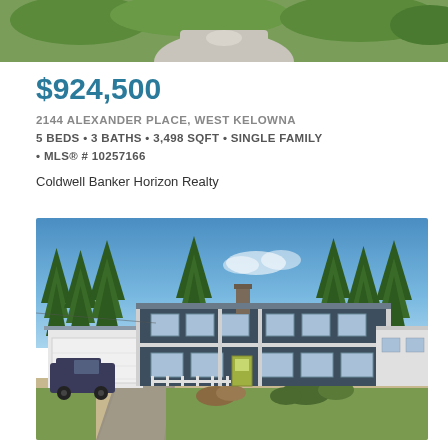[Figure (photo): Aerial/overhead view of property driveway and surrounding green landscaping]
$924,500
2144 ALEXANDER PLACE, WEST KELOWNA
5 BEDS • 3 BATHS • 3,498 SQFT • SINGLE FAMILY
• MLS® # 10257166
Coldwell Banker Horizon Realty
[Figure (photo): Front exterior photo of a two-storey blue house with white trim, garage, tall evergreen trees, and blue sky background at 2144 Alexander Place, West Kelowna]